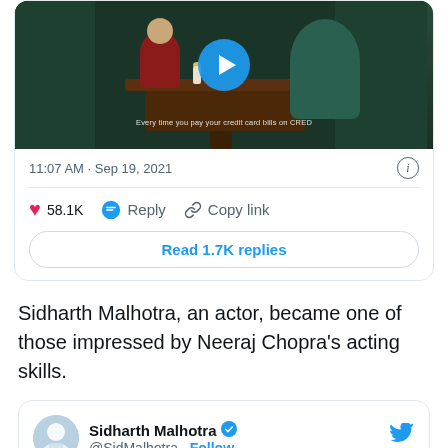[Figure (screenshot): Tweet card showing a video thumbnail with a play button. The video shows a restaurant scene with green upholstered chairs and a dark wooden table. The caption reads 'Every time you pay your credit card bills on CRED'. Below the thumbnail: timestamp '11:07 AM · Sep 19, 2021', an info icon, a heart icon with '58.1K', 'Reply', 'Copy link', and a 'Read 1.7K replies' button.]
Sidharth Malhotra, an actor, became one of those impressed by Neeraj Chopra's acting skills.
[Figure (screenshot): Tweet card from Sidharth Malhotra (@SidMalhotra) with a verified badge and Follow link. Twitter bird logo in top right. Profile photo shown. Tweet text begins: 'People are talking about the biopic, but']